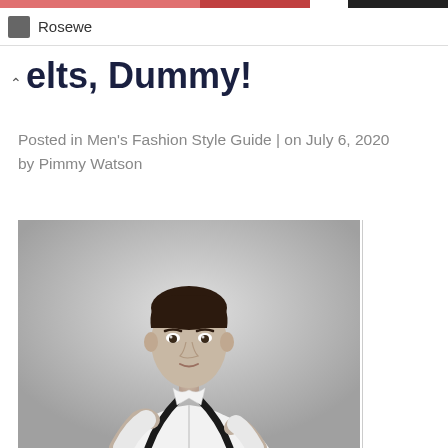Rosewe
Belts, Dummy!
Posted in Men's Fashion Style Guide | on July 6, 2020 by Pimmy Watson
[Figure (photo): Black and white portrait photo of a young man wearing a white short-sleeve dress shirt with black suspenders, looking directly at the camera]